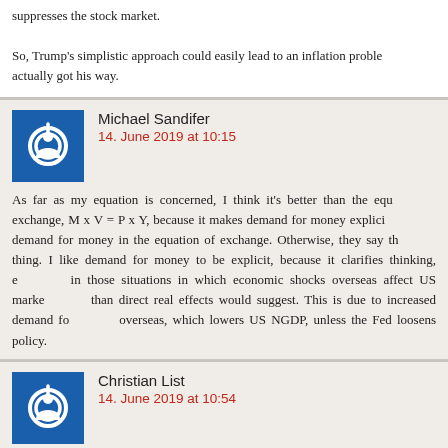suppresses the stock market.

So, Trump's simplistic approach could easily lead to an inflation problem if he actually got his way.
Michael Sandifer
14. June 2019 at 10:15
As far as my equation is concerned, I think it's better than the equation of exchange, M x V = P x Y, because it makes demand for money explicit. V hides demand for money in the equation of exchange. Otherwise, they say the same thing. I like demand for money to be explicit, because it clarifies thinking, especially in those situations in which economic shocks overseas affect US markets more than direct real effects would suggest. This is due to increased demand for money overseas, which lowers US NGDP, unless the Fed loosens policy.
Christian List
14. June 2019 at 10:54
Michael,

come on, he doesn't get his way completely (not even close) … he is pus…